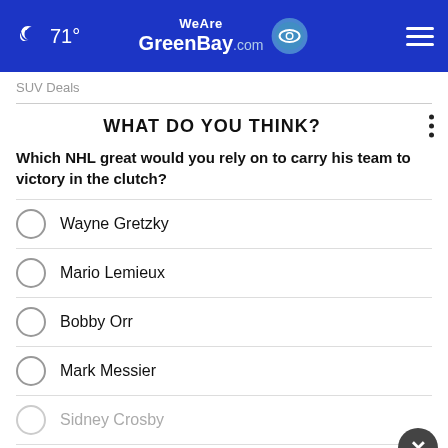71° WeAreGreenBay.com
SUV Deals
WHAT DO YOU THINK?
Which NHL great would you rely on to carry his team to victory in the clutch?
Wayne Gretzky
Mario Lemieux
Bobby Orr
Mark Messier
Sidney Crosby
[Figure (screenshot): Ad overlay for EXCELL CONSULTING with Call Us button]